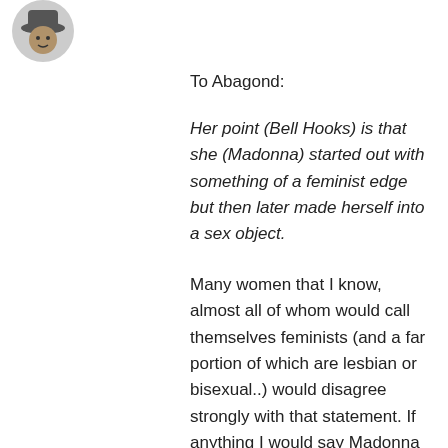[Figure (photo): Small circular avatar image of a person wearing a hat, partially visible at top left]
To Abagond:
Her point (Bell Hooks) is that she (Madonna) started out with something of a feminist edge but then later made herself into a sex object.
Many women that I know, almost all of whom would call themselves feminists (and a far portion of which are lesbian or bisexual..) would disagree strongly with that statement. If anything I would say Madonna clearly took charge of her own career after her first few years (as opposed to early days when she was heavily influenced by John Benitez) and added other themes to her videos and performances. The fact she is now 50 years and can still sell out shows (and has